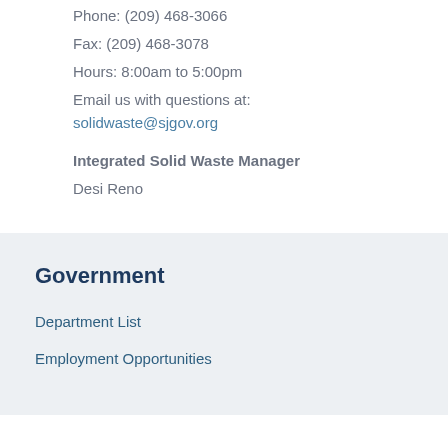Phone: (209) 468-3066
Fax: (209) 468-3078
Hours: 8:00am to 5:00pm
Email us with questions at:
solidwaste@sjgov.org
Integrated Solid Waste Manager
Desi Reno
Government
Department List
Employment Opportunities